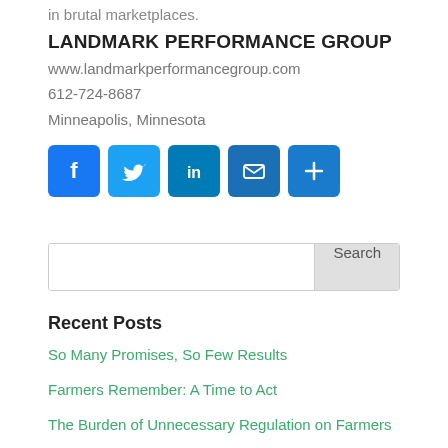in brutal marketplaces.
LANDMARK PERFORMANCE GROUP
www.landmarkperformancegroup.com
612-724-8687
Minneapolis, Minnesota
[Figure (infographic): Row of five social media sharing icons: Facebook (blue f), Twitter (blue bird), LinkedIn (blue in), Email (blue envelope), More/Share (blue plus sign)]
Search
Recent Posts
So Many Promises, So Few Results
Farmers Remember: A Time to Act
The Burden of Unnecessary Regulation on Farmers